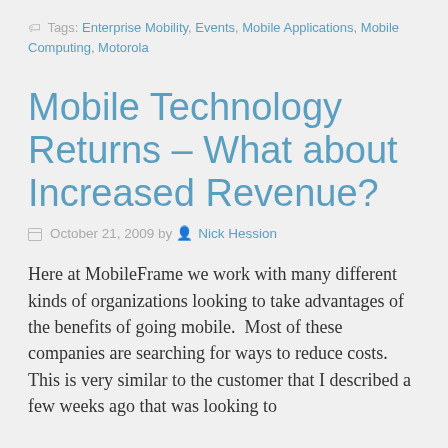Tags: Enterprise Mobility, Events, Mobile Applications, Mobile Computing, Motorola
Mobile Technology Returns – What about Increased Revenue?
October 21, 2009 by Nick Hession
Here at MobileFrame we work with many different kinds of organizations looking to take advantages of the benefits of going mobile.  Most of these companies are searching for ways to reduce costs.  This is very similar to the customer that I described a few weeks ago that was looking to